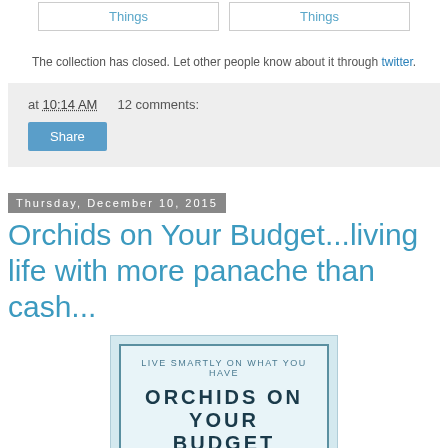[Figure (other): Two buttons labeled 'Things' side by side]
The collection has closed. Let other people know about it through twitter.
at 10:14 AM   12 comments:
Share
Thursday, December 10, 2015
Orchids on Your Budget...living life with more panache than cash...
[Figure (illustration): Book cover: 'Live Smartly On What You Have — ORCHIDS ON YOUR BUDGET']